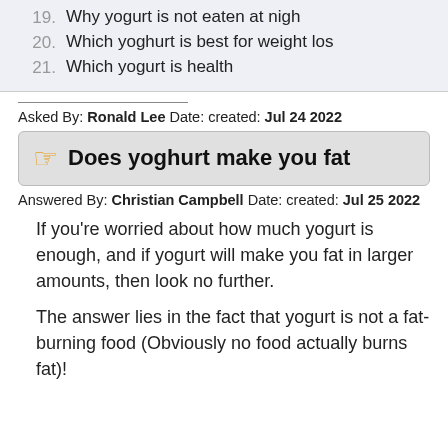19. Why yogurt is not eaten at nigh
20. Which yoghurt is best for weight los
21. Which yogurt is health
Asked By: Ronald Lee Date: created: Jul 24 2022
Does yoghurt make you fat
Answered By: Christian Campbell Date: created: Jul 25 2022
If you're worried about how much yogurt is enough, and if yogurt will make you fat in larger amounts, then look no further.
The answer lies in the fact that yogurt is not a fat-burning food (Obviously no food actually burns fat)!